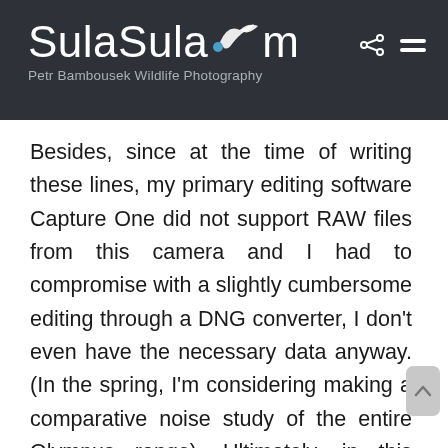SulaSula.com
Petr Bambousek Wildlife Photography
Besides, since at the time of writing these lines, my primary editing software Capture One did not support RAW files from this camera and I had to compromise with a slightly cumbersome editing through a DNG converter, I don't even have the necessary data anyway. (In the spring, I'm considering making a comparative noise study of the entire Olympus range). Ultimately, in this article, you simply won't find out how the E-M1